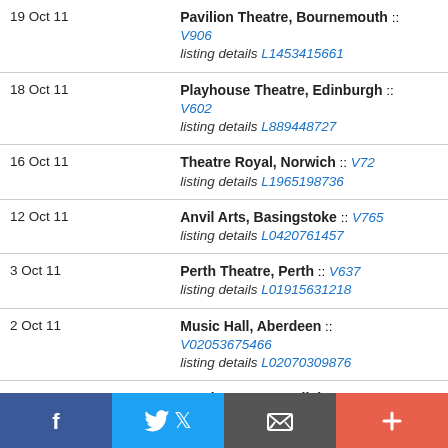| Date | Venue |
| --- | --- |
| 19 Oct 11 | Pavilion Theatre, Bournemouth :: V906
listing details L1453415661 |
| 18 Oct 11 | Playhouse Theatre, Edinburgh :: V602
listing details L889448727 |
| 16 Oct 11 | Theatre Royal, Norwich :: V72
listing details L1965198736 |
| 12 Oct 11 | Anvil Arts, Basingstoke :: V765
listing details L0420761457 |
| 3 Oct 11 | Perth Theatre, Perth :: V637
listing details L01915631218 |
| 2 Oct 11 | Music Hall, Aberdeen :: V02053675466
listing details L02070309876 |
| 30 Sep 11 | Sands Centre, Carlisle :: V2
listing details L478790660 |
| 29 Sep 11 | Tyne Theatre and Opera House, |
[Figure (infographic): Social media sharing bar with four buttons: Facebook (blue), Twitter (light blue), Email (dark grey), and Add/Plus (red-orange)]